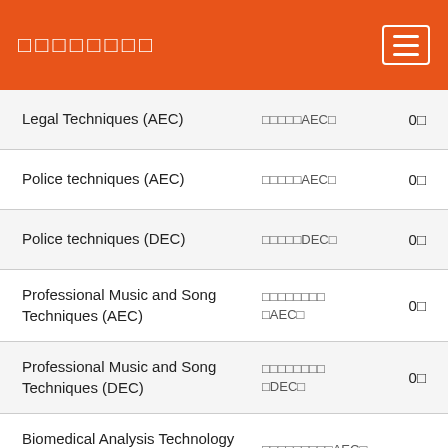□□□□□□□□
| Course Name | Thai Name | Count |
| --- | --- | --- |
| Legal Techniques (AEC) | □□□□□AEC□ | 0□ |
| Police techniques (AEC) | □□□□□AEC□ | 0□ |
| Police techniques (DEC) | □□□□□DEC□ | 0□ |
| Professional Music and Song Techniques (AEC) | □□□□□□□□□AEC□ | 0□ |
| Professional Music and Song Techniques (DEC) | □□□□□□□□□DEC□ | 0□ |
| Biomedical Analysis Technology (AEC) | □□□□□□□□□AEC□ |  |
| Biomedical Analysis Techno... | □□□□□□□DEC□ | 0□ |